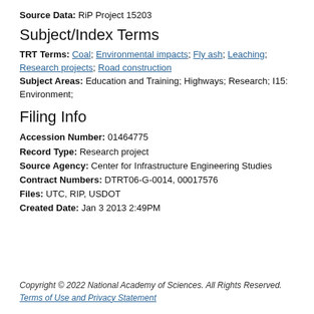Source Data: RiP Project 15203
Subject/Index Terms
TRT Terms: Coal; Environmental impacts; Fly ash; Leaching; Research projects; Road construction
Subject Areas: Education and Training; Highways; Research; I15: Environment;
Filing Info
Accession Number: 01464775
Record Type: Research project
Source Agency: Center for Infrastructure Engineering Studies
Contract Numbers: DTRT06-G-0014, 00017576
Files: UTC, RIP, USDOT
Created Date: Jan 3 2013 2:49PM
Copyright © 2022 National Academy of Sciences. All Rights Reserved. Terms of Use and Privacy Statement